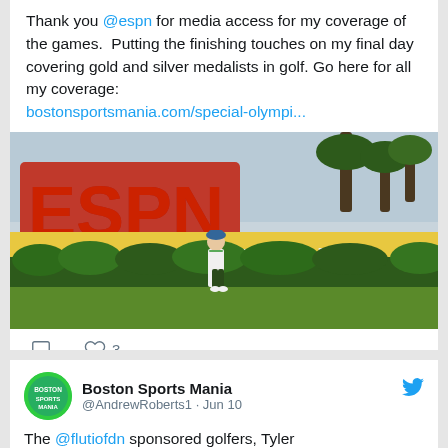Thank you @espn for media access for my coverage of the games.  Putting the finishing touches on my final day covering gold and silver medalists in golf. Go here for all my coverage: bostonsportsmania.com/special-olympi...
[Figure (photo): Person standing in front of ESPN Wide World of Sports sign with red ESPN letters and white 'Wide World of Sports' lettering, palm trees in background]
♡ 3
Boston Sports Mania @AndrewRoberts1 · Jun 10
The @flutiofdn sponsored golfers, Tyler